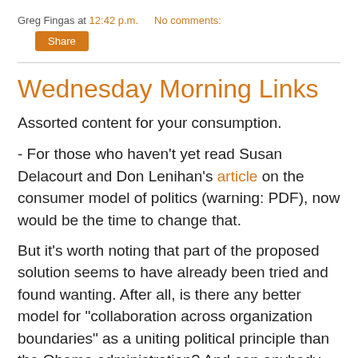Greg Fingas at 12:42 p.m.   No comments:
Share
Wednesday Morning Links
Assorted content for your consumption.
- For those who haven't yet read Susan Delacourt and Don Lenihan's article on the consumer model of politics (warning: PDF), now would be the time to change that.
But it's worth noting that part of the proposed solution seems to have already been tried and found wanting. After all, is there any better model for "collaboration across organization boundaries" as a uniting political principle than the Obama administration? And can anybody plausibly claim that its efforts to be seen including all kinds of different stakeholders (including political opponents) haven't often led to disastrous results when some of those stakeholders are themselves